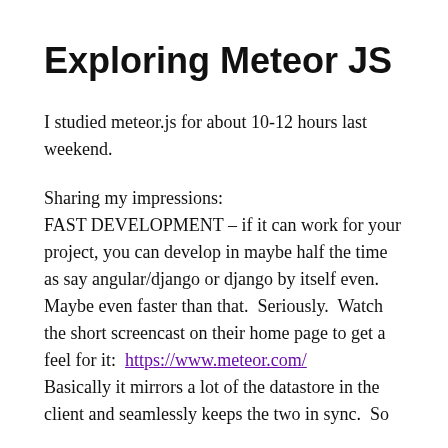Exploring Meteor JS
I studied meteor.js for about 10-12 hours last weekend.
Sharing my impressions:
FAST DEVELOPMENT – if it can work for your project, you can develop in maybe half the time as say angular/django or django by itself even. Maybe even faster than that. Seriously. Watch the short screencast on their home page to get a feel for it: https://www.meteor.com/
Basically it mirrors a lot of the datastore in the client and seamlessly keeps the two in sync. So